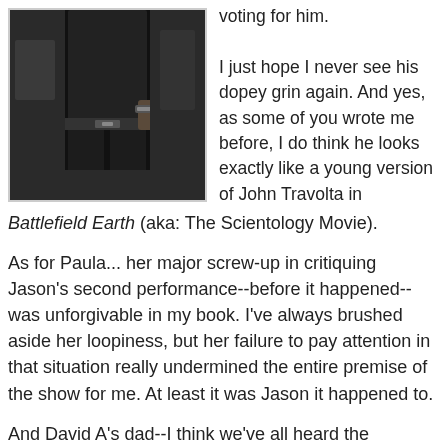[Figure (photo): Black and white or dark-toned photo of a person in a black leather outfit, lower body visible, standing in what appears to be an outdoor or gritty setting.]
voting for him.

I just hope I never see his dopey grin again. And yes, as some of you wrote me before, I do think he looks exactly like a young version of John Travolta in Battlefield Earth (aka: The Scientology Movie).
As for Paula... her major screw-up in critiquing Jason's second performance--before it happened--was unforgivable in my book. I've always brushed aside her loopiness, but her failure to pay attention in that situation really undermined the entire premise of the show for me. At least it was Jason it happened to.
And David A's dad--I think we've all heard the "nightmare stage father" stories. I just hope that young David, who genuinely seems like a nice kid, can escape the grasp of his father before it's too late and he ends up like a male version of Jessica and/or Ashlee Simpson.